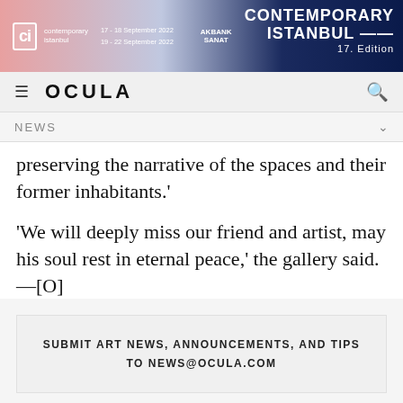[Figure (other): Contemporary Istanbul banner advertisement — pink to dark blue gradient with CI logo, dates 17-18 September 2022 and 19-22 September 2022, Akbank Sanat logo, and 'Contemporary Istanbul 17. Edition' text on right]
OCULA
NEWS
preserving the narrative of the spaces and their former inhabitants.'
'We will deeply miss our friend and artist, may his soul rest in eternal peace,' the gallery said. —[O]
SUBMIT ART NEWS, ANNOUNCEMENTS, AND TIPS TO NEWS@OCULA.COM
RELATED CONTENT